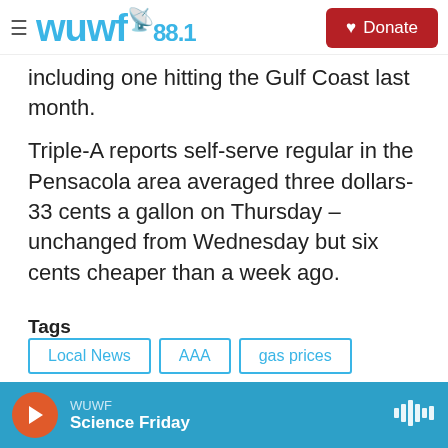WUWF 88.1 | Donate
including one hitting the Gulf Coast last month.
Triple-A reports self-serve regular in the Pensacola area averaged three dollars-33 cents a gallon on Thursday – unchanged from Wednesday but six cents cheaper than a week ago.
Tags: Local News | AAA | gas prices | Trilby Lundberg
[Figure (other): Social sharing buttons: Facebook, Twitter, LinkedIn, Email]
WUWF Science Friday